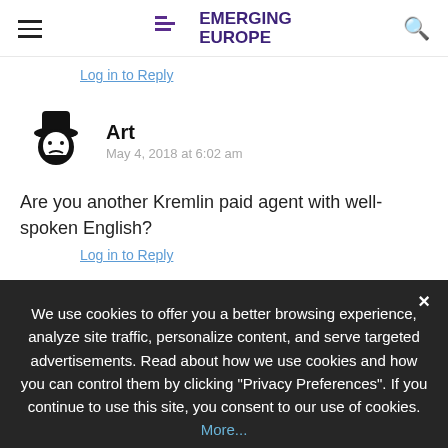Emerging Europe
Log in to Reply
[Figure (illustration): Default avatar icon showing a silhouette with a hat, representing user 'Art']
Art
May 4, 2018 at 6:02 am
Are you another Kremlin paid agent with well-spoken English?
Log in to Reply
We use cookies to offer you a better browsing experience, analyze site traffic, personalize content, and serve targeted advertisements. Read about how we use cookies and how you can control them by clicking "Privacy Preferences". If you continue to use this site, you consent to our use of cookies. More...